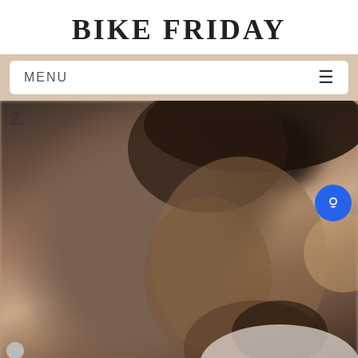BIKE FRIDAY
[Figure (other): Navigation bar with MENU text and hamburger icon on beige/tan background]
2.
[Figure (photo): Blurred close-up profile photo of a person wearing a bicycle helmet, viewed from the side. A blue circular chat button is visible on the right side of the image. A small avatar icon is in the lower left.]
bikefridaywalter June 13, 2011 at 11:35 am
Just to set the record straight, a unicycle is a di...

Regarding hills, Bailey Hill is a wee beastly. Last ... it fixed I was second up with the Bike Friday lunch ride.